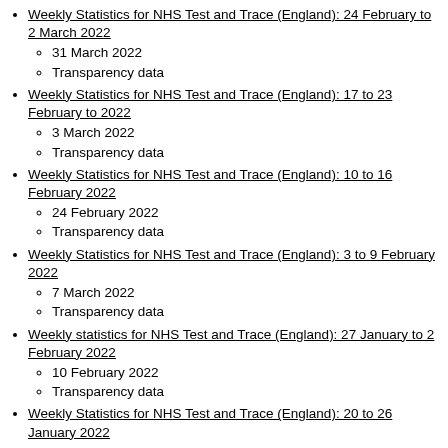Weekly Statistics for NHS Test and Trace (England): 24 February to 2 March 2022
  - 31 March 2022
  - Transparency data
Weekly Statistics for NHS Test and Trace (England): 17 to 23 February to 2022
  - 3 March 2022
  - Transparency data
Weekly Statistics for NHS Test and Trace (England): 10 to 16 February 2022
  - 24 February 2022
  - Transparency data
Weekly Statistics for NHS Test and Trace (England): 3 to 9 February 2022
  - 7 March 2022
  - Transparency data
Weekly statistics for NHS Test and Trace (England): 27 January to 2 February 2022
  - 10 February 2022
  - Transparency data
Weekly Statistics for NHS Test and Trace (England): 20 to 26 January 2022
  - 11 February 2022
  - Transparency data
Weekly statistics for NHS Test and Trace: 13 to 19 January 2022
  - 27 January 2022